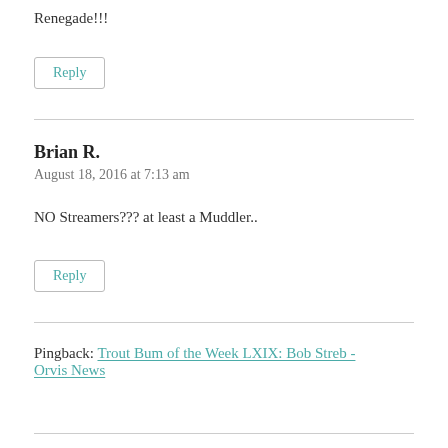Renegade!!!
Reply
Brian R.
August 18, 2016 at 7:13 am
NO Streamers??? at least a Muddler..
Reply
Pingback: Trout Bum of the Week LXIX: Bob Streb - Orvis News